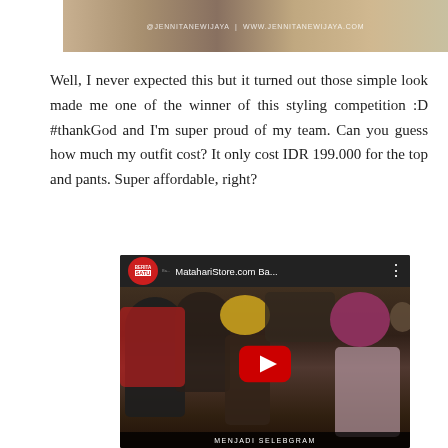[Figure (photo): Cropped top portion of a fashion/lifestyle photo showing people. Watermark reads: @JENNITANEWIJAYA | WWW.JENNITANEWIJAYA.COM]
Well, I never expected this but it turned out those simple look made me one of the winner of this styling competition :D #thankGod and I'm super proud of my team. Can you guess how much my outfit cost? It only cost IDR 199.000 for the top and pants. Super affordable, right?
[Figure (screenshot): Embedded YouTube video thumbnail showing a group of women at what appears to be the MatahariStore.com Ba... event. Video is from BeritaSatu channel. A red play button is visible in the center. Bottom bar shows 'MENJADI SELEBGRAM'.]